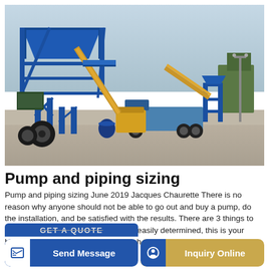[Figure (photo): Photograph of a large blue mobile concrete batching plant / mixing station on a paved outdoor yard. The structure has a blue steel frame with conveyor belt, aggregate bins, and a yellow truck/generator nearby. A separate blue tower structure is visible on the right side. Overcast sky in background.]
Pump and piping sizing
Pump and piping sizing June 2019 Jacques Chaurette There is no reason why anyone should not be able to go out and buy a pump, do the installation, and be satisfied with the results. There are 3 things to establish: the flow rate which can be easily determined, this is your basic requirement, the height to which you need to deliver